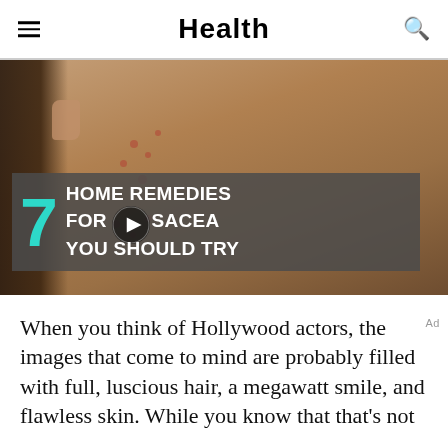Health
[Figure (screenshot): Video thumbnail showing a person's face with rosacea (red spots on cheeks and chin). Overlay banner reads: 7 HOME REMEDIES FOR ROSACEA YOU SHOULD TRY, with a large teal number 7 and a play button icon.]
When you think of Hollywood actors, the images that come to mind are probably filled with full, luscious hair, a megawatt smile, and flawless skin. While you know that that's not